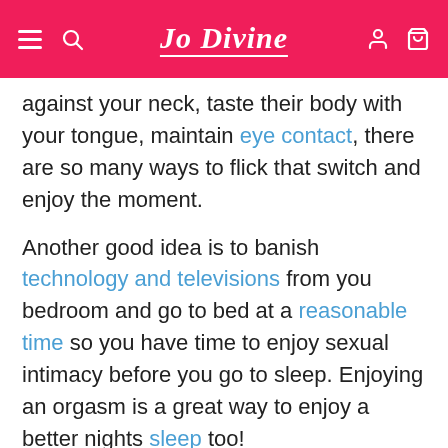Jo Divine
against your neck, taste their body with your tongue, maintain eye contact, there are so many ways to flick that switch and enjoy the moment.
Another good idea is to banish technology and televisions from you bedroom and go to bed at a reasonable time so you have time to enjoy sexual intimacy before you go to sleep. Enjoying an orgasm is a great way to enjoy a better nights sleep too!
Start taking control of your sex pleasure and intimacy, you never know, you might like it. It